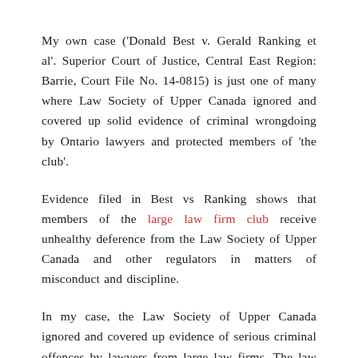My own case ('Donald Best v. Gerald Ranking et al'. Superior Court of Justice, Central East Region: Barrie, Court File No. 14-0815) is just one of many where Law Society of Upper Canada ignored and covered up solid evidence of criminal wrongdoing by Ontario lawyers and protected members of 'the club'.
Evidence filed in Best vs Ranking shows that members of the large law firm club receive unhealthy deference from the Law Society of Upper Canada and other regulators in matters of misconduct and discipline.
In my case, the Law Society of Upper Canada ignored and covered up evidence of serious criminal offences by lawyers from large law firms. The law society also refused to assist me, an unrepresented litigant, to find legal counsel in a special situation where the vast majority of lawyers were too intimidated and frightened